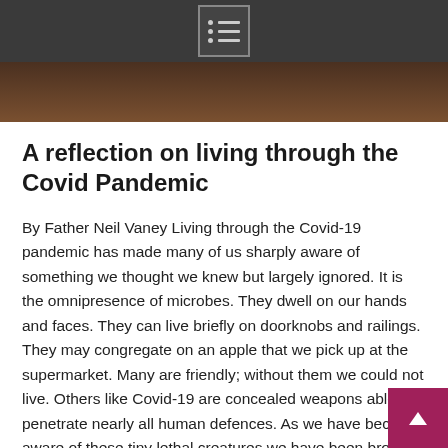menu icon / navigation bar
[Figure (photo): Dark photo strip showing a warm-toned indoor scene, partially visible below the navigation bar]
A reflection on living through the Covid Pandemic
By Father Neil Vaney Living through the Covid-19 pandemic has made many of us sharply aware of something we thought we knew but largely ignored. It is the omnipresence of microbes. They dwell on our hands and faces. They can live briefly on doorknobs and railings. They may congregate on an apple that we pick up at the supermarket. Many are friendly; without them we could not live. Others like Covid-19 are concealed weapons able to penetrate nearly all human defences. As we have become aware of these tiny lethal creatures we have been brought short by this reminder of human frailty and vulnerability. We are journeying creatures, destined to death. We have seen two extreme reactions to this truth. The first has been to try to close oneself off as